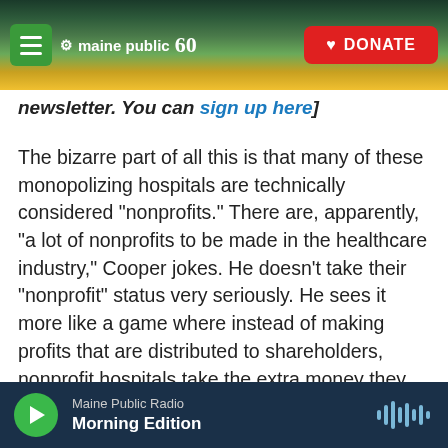[Figure (screenshot): Maine Public website navigation bar with hamburger menu, Maine Public 60 logo, and red DONATE button over a scenic landscape background]
newsletter. You can sign up here]
The bizarre part of all this is that many of these monopolizing hospitals are technically considered "nonprofits." There are, apparently, "a lot of nonprofits to be made in the healthcare industry," Cooper jokes. He doesn't take their "nonprofit" status very seriously. He sees it more like a game where instead of making profits that are distributed to shareholders, nonprofit hospitals take the extra money they make and use it for executive compensation and buying shiny stuff. Cooper says nonprofit hospitals tend to "overinvest in
[Figure (screenshot): Maine Public Radio audio player bar showing play button, station name Maine Public Radio, program name Morning Edition, and audio waveform icon]